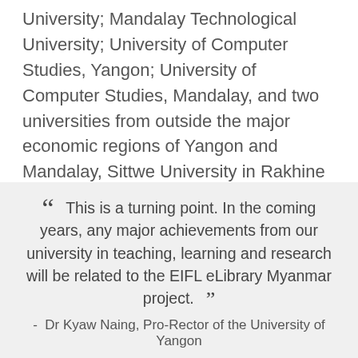University; Mandalay Technological University; University of Computer Studies, Yangon; University of Computer Studies, Mandalay, and two universities from outside the major economic regions of Yangon and Mandalay, Sittwe University in Rakhine State and Mawlamyine University in Mon State.
“ This is a turning point. In the coming years, any major achievements from our university in teaching, learning and research will be related to the EIFL eLibrary Myanmar project. ”
- Dr Kyaw Naing, Pro-Rector of the University of Yangon